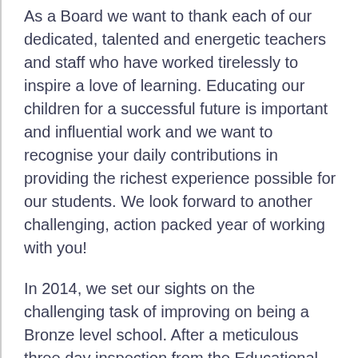As a Board we want to thank each of our dedicated, talented and energetic teachers and staff who have worked tirelessly to inspire a love of learning. Educating our children for a successful future is important and influential work and we want to recognise your daily contributions in providing the richest experience possible for our students. We look forward to another challenging, action packed year of working with you!
In 2014, we set our sights on the challenging task of improving on being a Bronze level school. After a meticulous three day inspection from the Educational Development Trust (EDT) from the UK, we are proud to announce that the school has been awarded the Silver accreditation status. In all of the eight accreditation standards, the school was rated as either good or outstanding. This accomplishment reflects the dedication, perseverance and collaboration of management